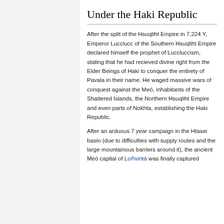Under the Haki Republic
After the split of the Hsuqliht Empire in 7,224 Y, Emperor Lucclucc of the Southern Hsuqliht Empire declared himself the prophet of Luccluccism, stating that he had recieved divine right from the Elder Beings of Haki to conquer the entirety of Pavala in their name. He waged massive wars of conquest against the Meó, inhabitants of the Shattered Islands, the Northern Hsuqliht Empire and even parts of Nokhta, establishing the Haki Republic.
After an arduous 7 year campaign in the Htasei basin (due to difficulties with supply routes and the large mountainous barriers around it), the ancient Meó capital of Loṅvintà was finally captured